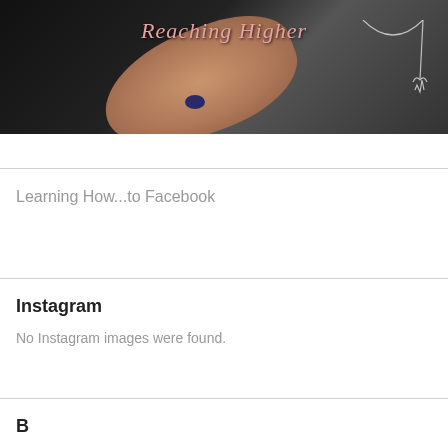[Figure (photo): Blog header image showing a person wearing a dark top and necklace, touching their chest, with the script text 'Reaching Higher' overlaid in pink cursive at the top center of a dark/black background photo.]
Reaching Higher
Learning How...to Facebook
Instagram
No Instagram images were found.
B...